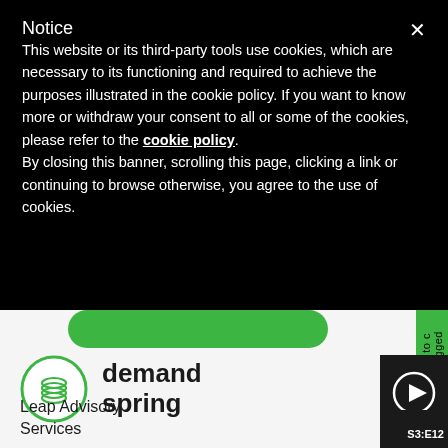Notice
This website or its third-party tools use cookies, which are necessary to its functioning and required to achieve the purposes illustrated in the cookie policy. If you want to know more or withdraw your consent to all or some of the cookies, please refer to the cookie policy.
By closing this banner, scrolling this page, clicking a link or continuing to browse otherwise, you agree to the use of cookies.
[Figure (screenshot): demand spring website footer with logo (green circle with spring icon), navigation links Leap Advisory and Services, a green button bar, a side tab with Listen to / Unplugged text, and a play button with S3:E12 label]
Leap Advisory
Services